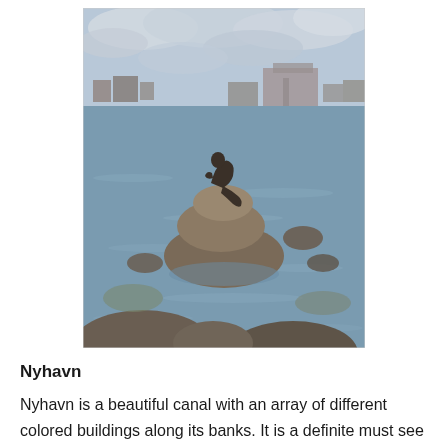[Figure (photo): The Little Mermaid statue in Copenhagen, sitting atop stacked rocks in the water, with a grey cloudy sky and industrial buildings visible across the harbour in the background.]
Nyhavn
Nyhavn is a beautiful canal with an array of different colored buildings along its banks. It is a definite must see in Copenhagen. I will warn you that the